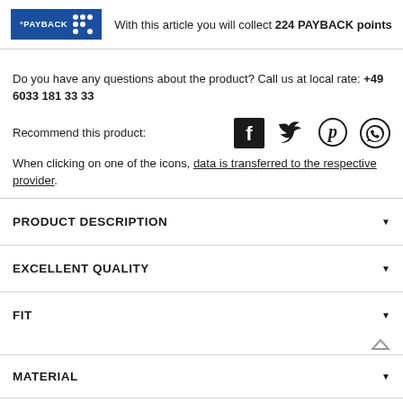[Figure (logo): PAYBACK logo in blue with dot grid pattern]
With this article you will collect 224 PAYBACK points
Do you have any questions about the product? Call us at local rate: +49 6033 181 33 33
Recommend this product:
[Figure (infographic): Social sharing icons: Facebook, Twitter, Pinterest, WhatsApp]
When clicking on one of the icons, data is transferred to the respective provider.
PRODUCT DESCRIPTION
EXCELLENT QUALITY
FIT
MATERIAL